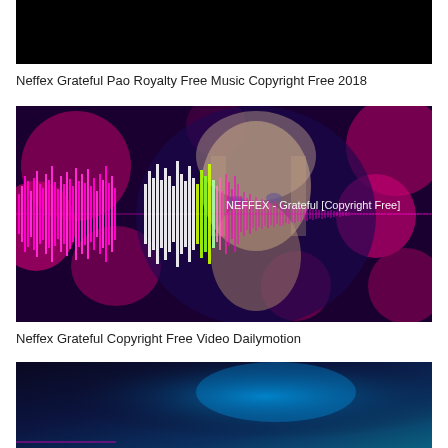[Figure (screenshot): Black thumbnail image of a video]
Neffex Grateful Pao Royalty Free Music Copyright Free 2018
[Figure (screenshot): Music visualizer screenshot showing NEFFEX - Grateful [Copyright Free] with audio waveform in pink/magenta colors over a woman's face surrounded by flowers]
Neffex Grateful Copyright Free Video Dailymotion
[Figure (screenshot): Partial thumbnail showing blue gradient background]